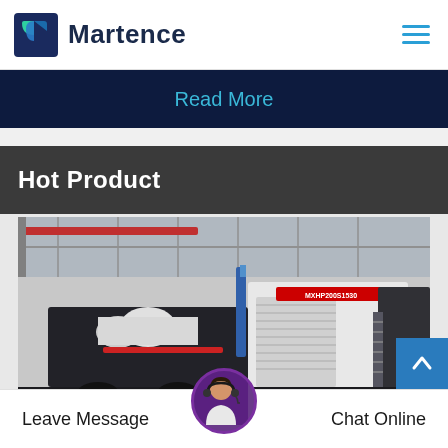Martence
Read More
Hot Product
[Figure (photo): Industrial heavy machinery (likely a drill rig or large generator unit) inside a warehouse/factory setting. The machine is white and black with red accents. A label reading MXHP200S1530 is visible on the unit.]
Leave Message
Chat Online